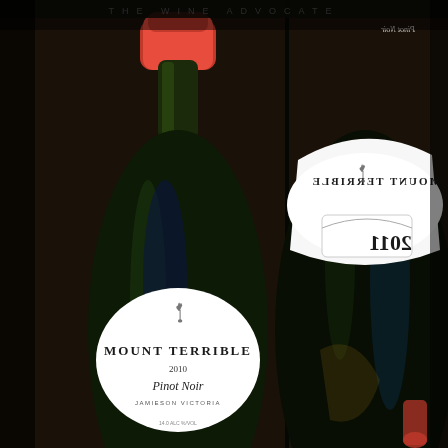[Figure (photo): Photograph of two wine bottles lying horizontally in a wooden wine rack. The left bottle is upright with a red foil capsule and a white label reading 'MOUNT TERRIBLE 2010 Pinot Noir JAMIESON VICTORIA' with a bird logo (lyrebird). The right bottle is shown face-on from behind with its label appearing mirrored/reversed, reading 'MOUNT TERRIBLE 2011' with the same bird logo and script 'Pinot Noir' text at top. The bottles are dark green glass with reflective surfaces. The overall lighting is dramatic and dark.]